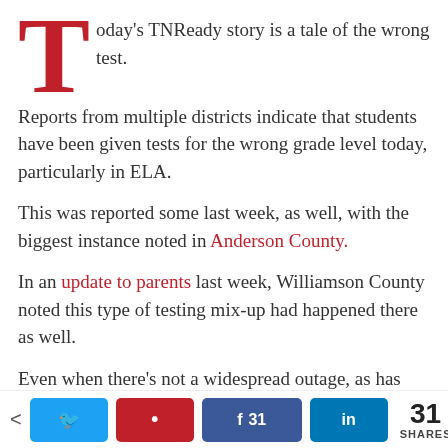Today's TNReady story is a tale of the wrong test.
Reports from multiple districts indicate that students have been given tests for the wrong grade level today, particularly in ELA.
This was reported some last week, as well, with the biggest instance noted in Anderson County.
In an update to parents last week, Williamson County noted this type of testing mix-up had happened there as well.
Even when there's not a widespread outage, as has happened due to dump trucks and hackers, there are problems with the execution of this test.